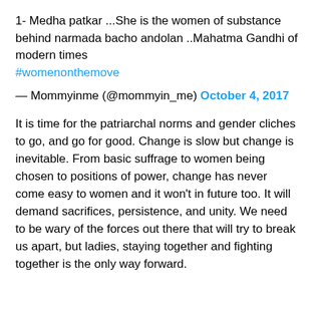1- Medha patkar ...She is the women of substance behind narmada bacho andolan ..Mahatma Gandhi of modern times #womenonthemove
— Mommyinme (@mommyin_me) October 4, 2017
It is time for the patriarchal norms and gender cliches to go, and go for good. Change is slow but change is inevitable. From basic suffrage to women being chosen to positions of power, change has never come easy to women and it won't in future too. It will demand sacrifices, persistence, and unity. We need to be wary of the forces out there that will try to break us apart, but ladies, staying together and fighting together is the only way forward.